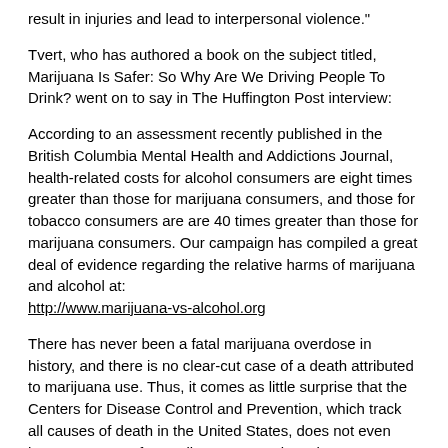result in injuries and lead to interpersonal violence."
Tvert, who has authored a book on the subject titled, Marijuana Is Safer: So Why Are We Driving People To Drink? went on to say in The Huffington Post interview:
According to an assessment recently published in the British Columbia Mental Health and Addictions Journal, health-related costs for alcohol consumers are eight times greater than those for marijuana consumers, and those for tobacco consumers are are 40 times greater than those for marijuana consumers. Our campaign has compiled a great deal of evidence regarding the relative harms of marijuana and alcohol at: http://www.marijuana-vs-alcohol.org
There has never been a fatal marijuana overdose in history, and there is no clear-cut case of a death attributed to marijuana use. Thus, it comes as little surprise that the Centers for Disease Control and Prevention, which track all causes of death in the United States, does not even have a category for marijuana use. It does, however, attribute upwards of 40,000 deaths per year to alcohol use, including hundreds of acute overdoses.